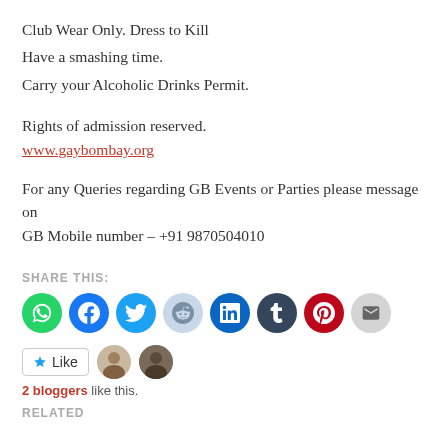Club Wear Only. Dress to Kill
Have a smashing time.
Carry your Alcoholic Drinks Permit.
Rights of admission reserved.
www.gaybombay.org
For any Queries regarding GB Events or Parties please message on GB Mobile number – +91 9870504010
SHARE THIS:
[Figure (infographic): Row of 8 social media share icon circles: WhatsApp (green), Facebook (blue), Twitter (cyan-blue), Reddit (light blue-grey), LinkedIn (dark teal), Tumblr (dark navy), Pinterest (red), Email (grey)]
[Figure (infographic): Like button with star icon, followed by two small avatar images of bloggers who liked]
2 bloggers like this.
RELATED